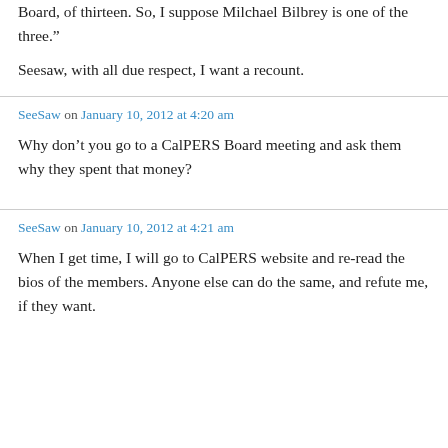Board, of thirteen. So, I suppose Milchael Bilbrey is one of the three."
Seesaw, with all due respect, I want a recount.
SeeSaw on January 10, 2012 at 4:20 am
Why don't you go to a CalPERS Board meeting and ask them why they spent that money?
SeeSaw on January 10, 2012 at 4:21 am
When I get time, I will go to CalPERS website and re-read the bios of the members. Anyone else can do the same, and refute me, if they want.